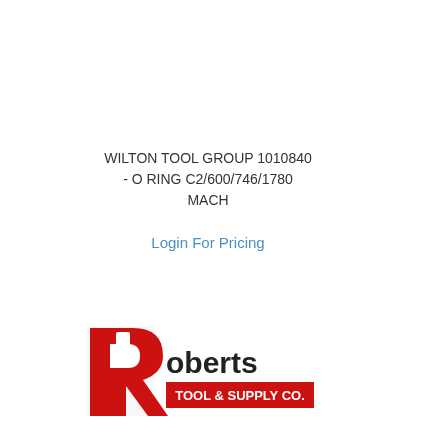WILTON TOOL GROUP 1010840 - O RING C2/600/746/1780 MACH
Login For Pricing
[Figure (logo): Roberts Tool & Supply Co. logo with large red R and company name]